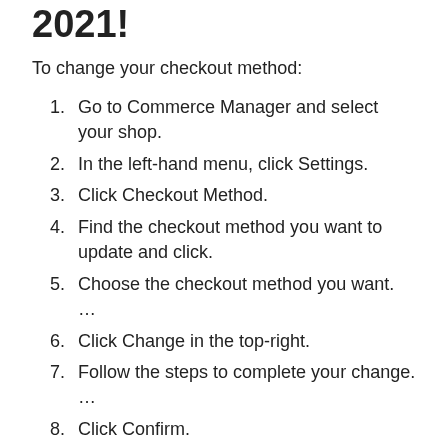2021:
To change your checkout method:
Go to Commerce Manager and select your shop.
In the left-hand menu, click Settings.
Click Checkout Method.
Find the checkout method you want to update and click.
Choose the checkout method you want. …
Click Change in the top-right.
Follow the steps to complete your change. …
Click Confirm.
Is a Facebook Shop free?